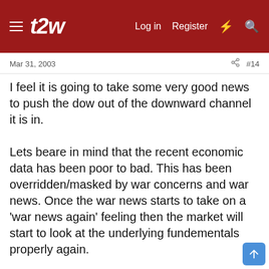t2w  Log in  Register
Mar 31, 2003   #14
I feel it is going to take some very good news to push the dow out of the downward channel it is in.

Lets beare in mind that the recent economic data has been poor to bad. This has been overridden/masked by war concerns and war news. Once the war news starts to take on a 'war news again' feeling then the market will start to look at the underlying fundementals properly again.